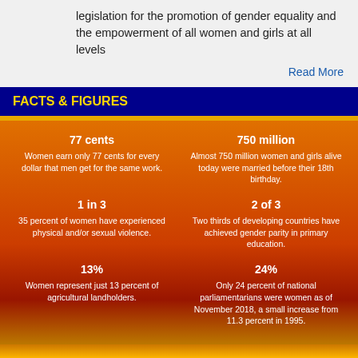legislation for the promotion of gender equality and the empowerment of all women and girls at all levels
Read More
FACTS & FIGURES
[Figure (infographic): Facts and figures about gender equality on an orange-red gradient background. Six statistics: '77 cents - Women earn only 77 cents for every dollar that men get for the same work.', '750 million - Almost 750 million women and girls alive today were married before their 18th birthday.', '1 in 3 - 35 percent of women have experienced physical and/or sexual violence.', '2 of 3 - Two thirds of developing countries have achieved gender parity in primary education.', '13% - Women represent just 13 percent of agricultural landholders.', '24% - Only 24 percent of national parliamentarians were women as of November 2018, a small increase from 11.3 percent in 1995.']
COMPANIES STRIVING FOR GENDER EQUALITY